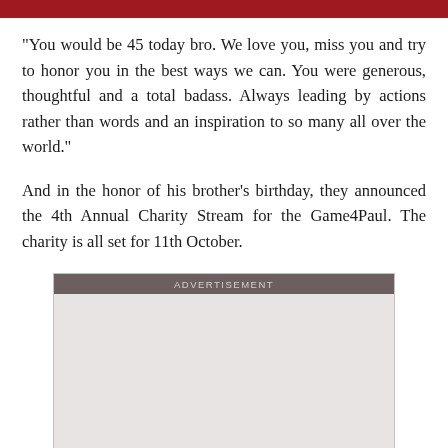"You would be 45 today bro. We love you, miss you and try to honor you in the best ways we can. You were generous, thoughtful and a total badass. Always leading by actions rather than words and an inspiration to so many all over the world."
And in the honor of his brother's birthday, they announced the 4th Annual Charity Stream for the Game4Paul. The charity is all set for 11th October.
[Figure (other): Advertisement placeholder box with dark header bar labeled ADVERTISEMENT and light gray body area]